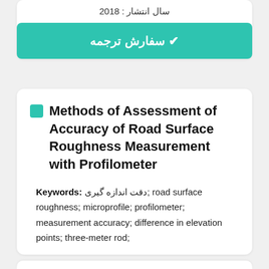سال انتشار : 2018
✔ سفارش ترجمه
Methods of Assessment of Accuracy of Road Surface Roughness Measurement with Profilometer
Keywords: دقت اندازه گیری; road surface roughness; microprofile; profilometer; measurement accuracy; difference in elevation points; three-meter rod;